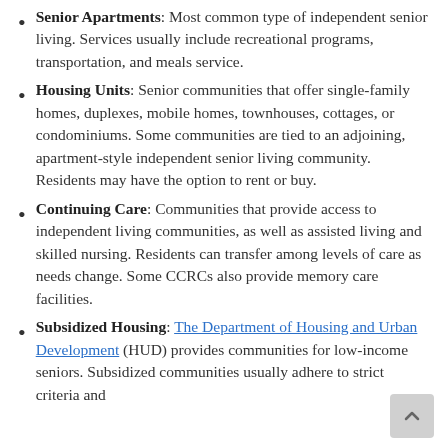Senior Apartments: Most common type of independent senior living. Services usually include recreational programs, transportation, and meals service.
Housing Units: Senior communities that offer single-family homes, duplexes, mobile homes, townhouses, cottages, or condominiums. Some communities are tied to an adjoining, apartment-style independent senior living community. Residents may have the option to rent or buy.
Continuing Care: Communities that provide access to independent living communities, as well as assisted living and skilled nursing. Residents can transfer among levels of care as needs change. Some CCRCs also provide memory care facilities.
Subsidized Housing: The Department of Housing and Urban Development (HUD) provides communities for low-income seniors. Subsidized communities usually adhere to strict criteria and...